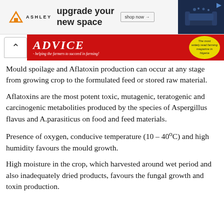[Figure (other): Ashley Furniture advertisement banner: orange house icon, ASHLEY logo, 'upgrade your new space' text, 'shop now' button, navy blue couch image on right, play button icon top right corner.]
[Figure (other): Secondary banner with caret/chevron up button on left and red ADVICE farming magazine banner with italic stylized text and yellow circular badge reading 'The most widely read farming magazine in Nigeria'.]
Mould spoilage and Aflatoxin production can occur at any stage from growing crop to the formulated feed or stored raw material.
Aflatoxins are the most potent toxic, mutagenic, teratogenic and carcinogenic metabolities produced by the species of Aspergillus flavus and A.parasiticus on food and feed materials.
Presence of oxygen, conducive temperature (10 – 40°C) and high humidity favours the mould growth.
High moisture in the crop, which harvested around wet period and also inadequately dried products, favours the fungal growth and toxin production.